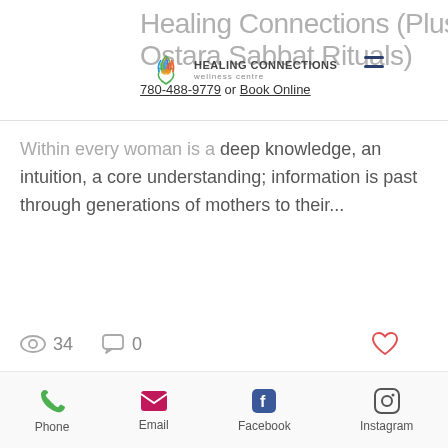Healing Connections (Plus, Ostara Sabbat Rituals)
HEALING CONNECTIONS wellness centre
780-488-9779 or Book Online
Within every woman is a deep knowledge, an intuition, a core understanding; information is past through generations of mothers to their...
34 views  0 comments
[Figure (illustration): Handwritten-style illustration with text 'Reiki is love, love is wholeness' in blue and pink cursive script, with a drawn flower on the left and a yellow sun on the right on a white background.]
Phone  Email  Facebook  Instagram